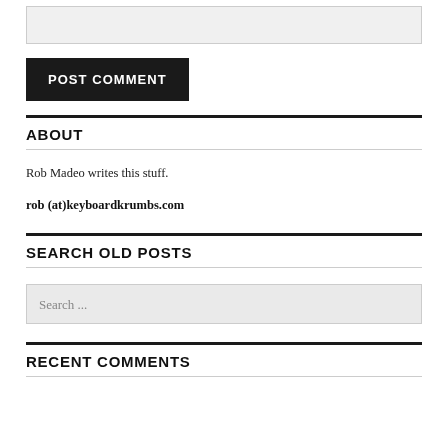[Figure (other): Website text input field (form element, light gray background)]
[Figure (other): POST COMMENT button, dark/black background with white uppercase text]
ABOUT
Rob Madeo writes this stuff.
rob (at)keyboardkrumbs.com
SEARCH OLD POSTS
[Figure (other): Search input field with placeholder text 'Search ...']
RECENT COMMENTS